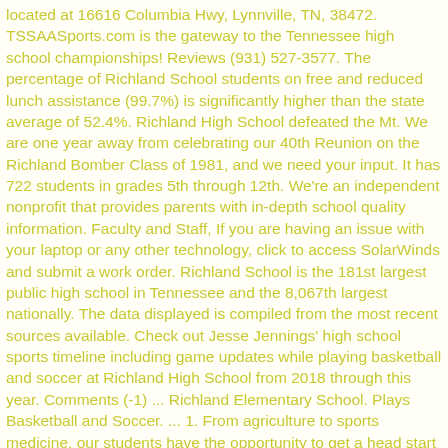located at 16616 Columbia Hwy, Lynnville, TN, 38472. TSSAASports.com is the gateway to the Tennessee high school championships! Reviews (931) 527-3577. The percentage of Richland School students on free and reduced lunch assistance (99.7%) is significantly higher than the state average of 52.4%. Richland High School defeated the Mt. We are one year away from celebrating our 40th Reunion on the Richland Bomber Class of 1981, and we need your input. It has 722 students in grades 5th through 12th. We're an independent nonprofit that provides parents with in-depth school quality information. Faculty and Staff, If you are having an issue with your laptop or any other technology, click to access SolarWinds and submit a work order. Richland School is the 181st largest public high school in Tennessee and the 8,067th largest nationally. The data displayed is compiled from the most recent sources available. Check out Jesse Jennings' high school sports timeline including game updates while playing basketball and soccer at Richland High School from 2018 through this year. Comments (-1) ... Richland Elementary School. Plays Basketball and Soccer. ... 1. From agriculture to sports medicine, our students have the opportunity to get a head start on preparing for that future career right in the classroom. Giles County School System. 270 Richland Drive. 5'8" Senior. The Richland School Board approved a timeline during its Jan. 12 regular meeting that will begin the transition to in-person learning for middle and high school students at the beginning of the second semester in late January. For